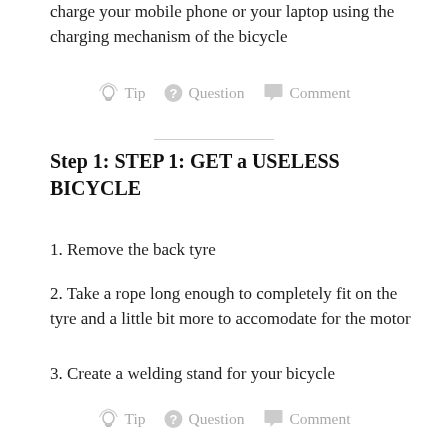charge your mobile phone or your laptop using the charging mechanism of the bicycle
[Figure (infographic): Icon bar with Tip (lightbulb icon), Question (question mark circle icon), and Comment (speech bubble icon) in gray]
Step 1: STEP 1: GET a USELESS BICYCLE
1. Remove the back tyre
2. Take a rope long enough to completely fit on the tyre and a little bit more to accomodate for the motor
3. Create a welding stand for your bicycle
[Figure (infographic): Icon bar with Tip (lightbulb icon), Question (question mark circle icon), and Comment (speech bubble icon) in gray]